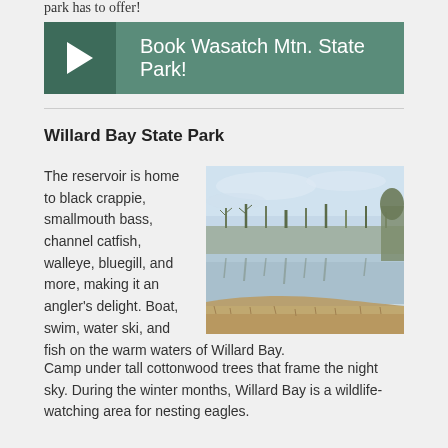park has to offer!
Book Wasatch Mtn. State Park!
Willard Bay State Park
The reservoir is home to black crappie, smallmouth bass, channel catfish, walleye, bluegill, and more, making it an angler's delight. Boat, swim, water ski, and fish on the warm waters of Willard Bay.
[Figure (photo): A calm reservoir with bare trees reflected in the water and a sandy/grassy shoreline in the foreground under a light blue sky.]
Camp under tall cottonwood trees that frame the night sky. During the winter months, Willard Bay is a wildlife-watching area for nesting eagles.